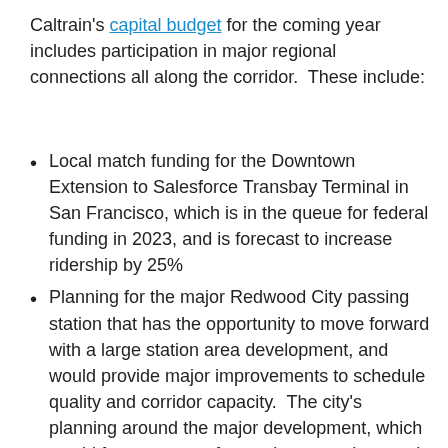Caltrain's capital budget for the coming year includes participation in major regional connections all along the corridor.  These include:
Local match funding for the Downtown Extension to Salesforce Transbay Terminal in San Francisco, which is in the queue for federal funding in 2023, and is forecast to increase ridership by 25%
Planning for the major Redwood City passing station that has the opportunity to move forward with a large station area development, and would provide major improvements to schedule quality and corridor capacity.  The city's planning around the major development, which would free up space for grade separations and the passing station, is happening now.